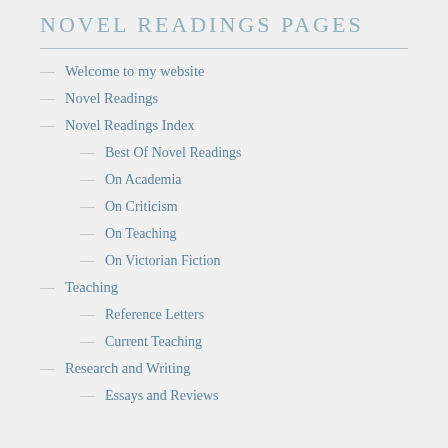NOVEL READINGS PAGES
Welcome to my website
Novel Readings
Novel Readings Index
Best Of Novel Readings
On Academia
On Criticism
On Teaching
On Victorian Fiction
Teaching
Reference Letters
Current Teaching
Research and Writing
Essays and Reviews